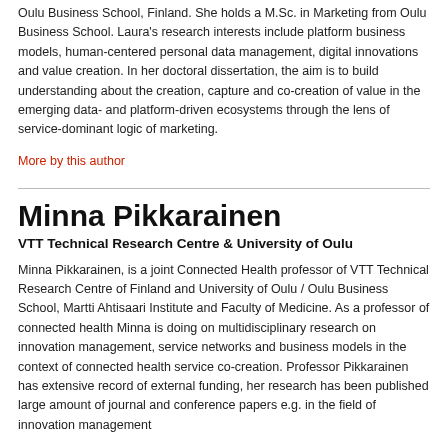Oulu Business School, Finland. She holds a M.Sc. in Marketing from Oulu Business School. Laura's research interests include platform business models, human-centered personal data management, digital innovations and value creation. In her doctoral dissertation, the aim is to build understanding about the creation, capture and co-creation of value in the emerging data- and platform-driven ecosystems through the lens of service-dominant logic of marketing.
More by this author
Minna Pikkarainen
VTT Technical Research Centre & University of Oulu
Minna Pikkarainen, is a joint Connected Health professor of VTT Technical Research Centre of Finland and University of Oulu / Oulu Business School, Martti Ahtisaari Institute and Faculty of Medicine. As a professor of connected health Minna is doing on multidisciplinary research on innovation management, service networks and business models in the context of connected health service co-creation. Professor Pikkarainen has extensive record of external funding, her research has been published large amount of journal and conference papers e.g. in the field of innovation management